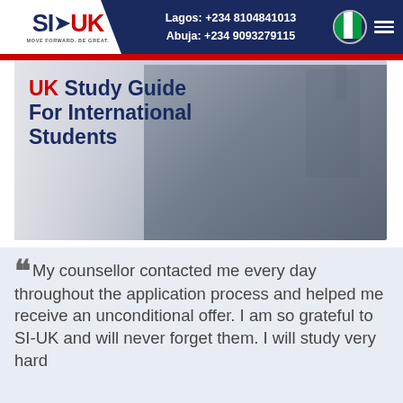SI-UK | MOVE FORWARD. BE GREAT. | Lagos: +234 8104841013 | Abuja: +234 9093279115
[Figure (photo): Banner image showing four international students standing together outdoors with a university building in the background. Overlaid text reads 'UK Study Guide For International Students'.]
"My counsellor contacted me every day throughout the application process and helped me receive an unconditional offer. I am so grateful to SI-UK and will never forget them. I will study very hard